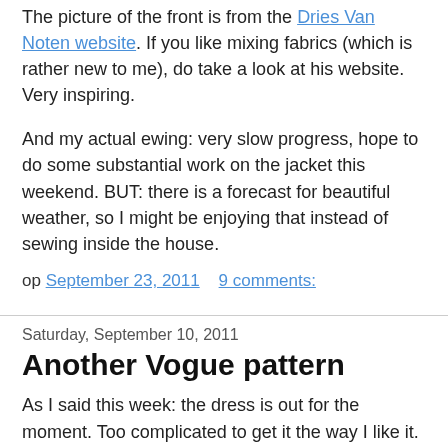The picture of the front is from the Dries Van Noten website. If you like mixing fabrics (which is rather new to me), do take a look at his website. Very inspiring.
And my actual ewing: very slow progress, hope to do some substantial work on the jacket this weekend. BUT: there is a forecast for beautiful weather, so I might be enjoying that instead of sewing inside the house.
op September 23, 2011   9 comments:
Saturday, September 10, 2011
Another Vogue pattern
As I said this week: the dress is out for the moment. Too complicated to get it the way I like it.
There's another Vogue pattern that has been in my stash for a few years and have wanted to try for a long time: 1064, an Anne Klein jacket. I've checked before and did it again